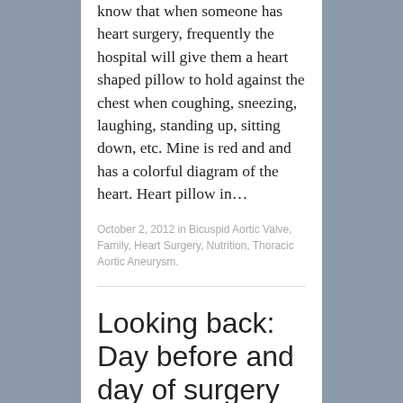know that when someone has heart surgery, frequently the hospital will give them a heart shaped pillow to hold against the chest when coughing, sneezing, laughing, standing up, sitting down, etc. Mine is red and and has a colorful diagram of the heart. Heart pillow in…
October 2, 2012 in Bicuspid Aortic Valve, Family, Heart Surgery, Nutrition, Thoracic Aortic Aneurysm.
Looking back: Day before and day of surgery
As planned, we left quite early on